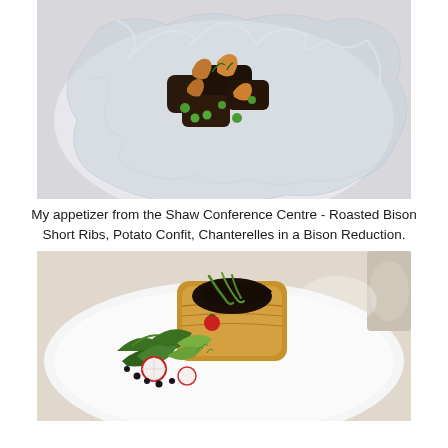[Figure (photo): Top-down photo of a dish: Roasted Bison Short Ribs, Potato Confit, and Chanterelles served in a crinkled translucent wrap on a white plate, garnished with green peas and herbs.]
My appetizer from the Shaw Conference Centre - Roasted Bison Short Ribs, Potato Confit, Chanterelles in a Bison Reduction.
[Figure (photo): A plated dish on a white round plate: a golden-brown pastry parcel filled with dark meat and topped with green onion strips, accompanied by a mixed green salad with radish slices, microgreens, and black berries, with a small red cherry tomato garnish.]